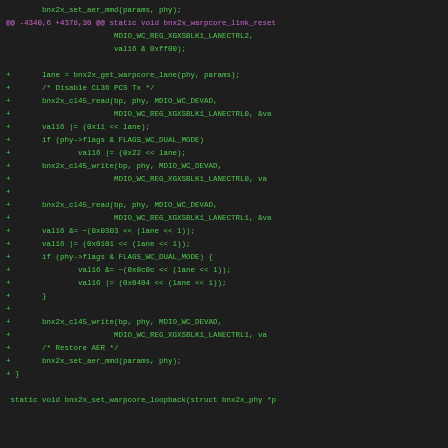[Figure (screenshot): Code diff showing changes to bnx2x_warpcore_link_reset and bnx2x_set_warpcore_loopback functions in green and magenta on dark background]